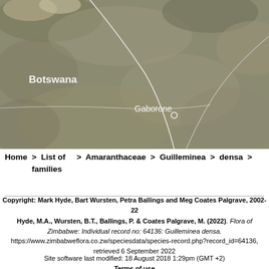[Figure (map): Satellite/terrain map showing southern Africa region including Botswana, Gaborone, Thohoyandou, Tzaneen, Polokwane, Mokopane, Mbombela, and Kruger National Park]
Home > List of families > Amaranthaceae > Guilleminea > densa >
Copyright: Mark Hyde, Bart Wursten, Petra Ballings and Meg Coates Palgrave, 2002-22
Hyde, M.A., Wursten, B.T., Ballings, P. & Coates Palgrave, M. (2022). Flora of Zimbabwe: Individual record no: 64136: Guilleminea densa. https://www.zimbabweflora.co.zw/speciesdata/species-record.php?record_id=64136, retrieved 6 September 2022
Site software last modified: 18 August 2018 1:29pm (GMT +2)
Terms of use